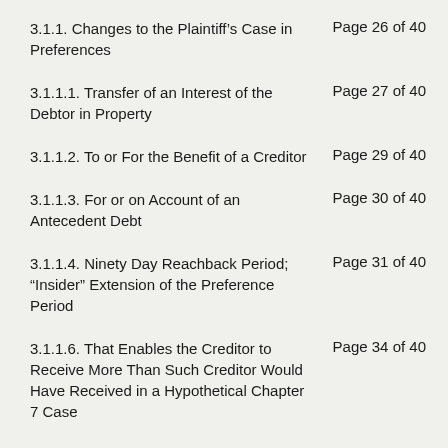3.1.1. Changes to the Plaintiff’s Case in Preferences	Page 26 of 40
3.1.1.1. Transfer of an Interest of the Debtor in Property	Page 27 of 40
3.1.1.2. To or For the Benefit of a Creditor	Page 29 of 40
3.1.1.3. For or on Account of an Antecedent Debt	Page 30 of 40
3.1.1.4. Ninety Day Reachback Period; “Insider” Extension of the Preference Period	Page 31 of 40
3.1.1.6. That Enables the Creditor to Receive More Than Such Creditor Would Have Received in a Hypothetical Chapter 7 Case	Page 34 of 40